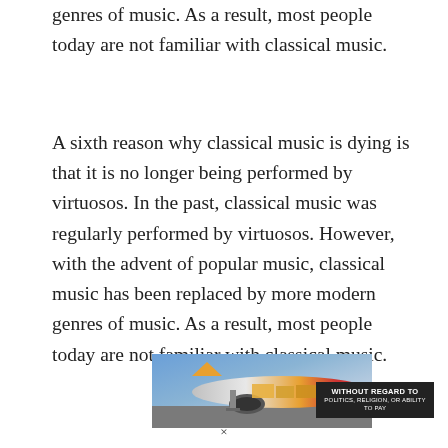genres of music. As a result, most people today are not familiar with classical music.
A sixth reason why classical music is dying is that it is no longer being performed by virtuosos. In the past, classical music was regularly performed by virtuosos. However, with the advent of popular music, classical music has been replaced by more modern genres of music. As a result, most people today are not familiar with classical music.
[Figure (photo): An advertisement banner showing an airplane being loaded with cargo at an airport, with a yellow and red livery visible on the plane. An overlay on the right side reads 'WITHOUT REGARD TO' in white bold text on a dark background, with smaller text below.]
×